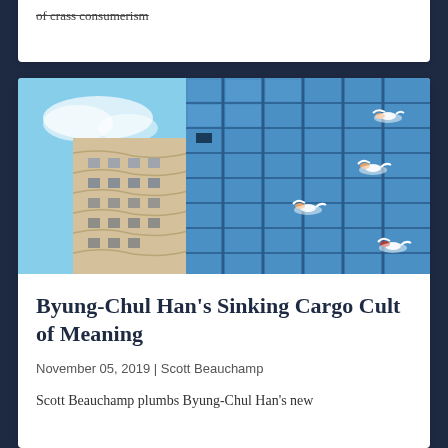of crass consumerism
[Figure (photo): Photo of a modern glass skyscraper reflecting swimmers (an artistic mural or reflection), alongside a curved beige building, taken from below against a blue sky.]
Byung-Chul Han's Sinking Cargo Cult of Meaning
November 05, 2019 | Scott Beauchamp
Scott Beauchamp plumbs Byung-Chul Han's new